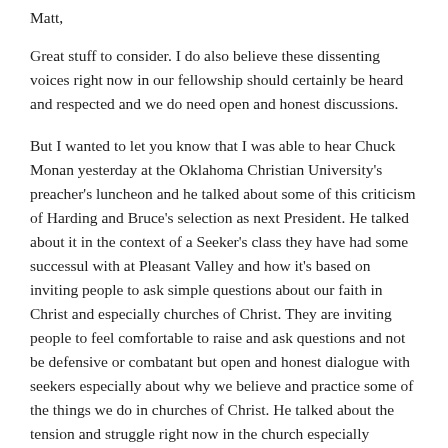Matt,
Great stuff to consider. I do also believe these dissenting voices right now in our fellowship should certainly be heard and respected and we do need open and honest discussions.
But I wanted to let you know that I was able to hear Chuck Monan yesterday at the Oklahoma Christian University's preacher's luncheon and he talked about some of this criticism of Harding and Bruce's selection as next President. He talked about it in the context of a Seeker's class they have had some successul with at Pleasant Valley and how it's based on inviting people to ask simple questions about our faith in Christ and especially churches of Christ. They are inviting people to feel comfortable to raise and ask questions and not be defensive or combatant but open and honest dialogue with seekers especially about why we believe and practice some of the things we do in churches of Christ. He talked about the tension and struggle right now in the church especially regarding being able to ask questions honestly and have open discussion. He gave what he described a telling quote from Rachel Held Evans, as you know is a more progressive blogger and thinking, that gives us insight and better